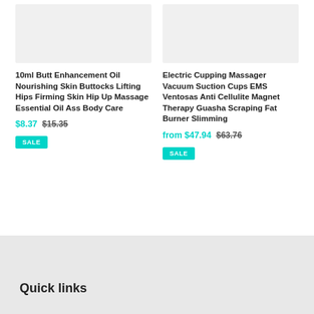[Figure (photo): Product image placeholder for butt enhancement oil — light gray rectangle]
10ml Butt Enhancement Oil Nourishing Skin Buttocks Lifting Hips Firming Skin Hip Up Massage Essential Oil Ass Body Care
$8.37  $15.35
SALE
[Figure (photo): Product image placeholder for electric cupping massager — light gray rectangle]
Electric Cupping Massager Vacuum Suction Cups EMS Ventosas Anti Cellulite Magnet Therapy Guasha Scraping Fat Burner Slimming
from $47.94  $63.76
SALE
Quick links